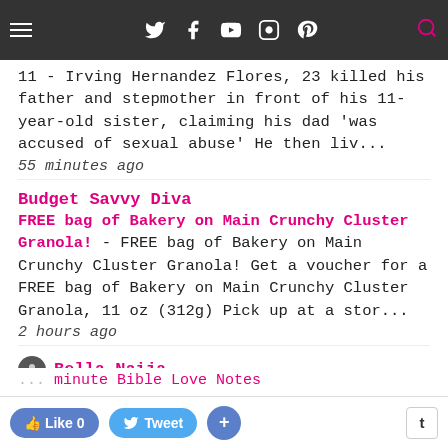[Figure (screenshot): Website navigation bar with hamburger menu icon, social media icons (Twitter, Facebook, YouTube, Instagram, Pinterest), and a pink search icon]
11 - Irving Hernandez Flores, 23 killed his father and stepmother in front of his 11-year-old sister, claiming his dad 'was accused of sexual abuse' He then liv...
55 minutes ago
Budget Savvy Diva
FREE bag of Bakery on Main Crunchy Cluster Granola! - FREE bag of Bakery on Main Crunchy Cluster Granola! Get a voucher for a FREE bag of Bakery on Main Crunchy Cluster Granola, 11 oz (312g) Pick up at a stor...
2 hours ago
Bella Naija
Maimuna Maibe: Why You Should Support the Law that Reduces Gender-Based Violence in Nigeria - Nigeria is one of the least safe places in the world for women. This is why the Violence Against Persons (Prohibition) Act (VAPP), passed in 2015 is an e...
4 hours ago